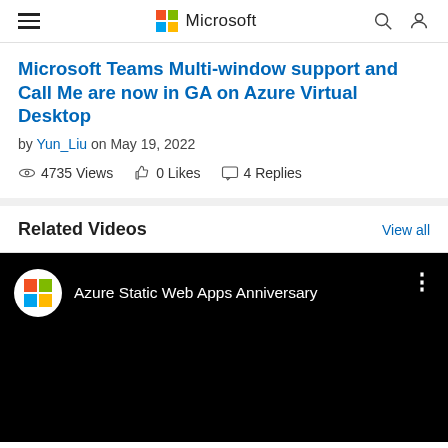Microsoft (navigation bar with hamburger menu, Microsoft logo, search and account icons)
Microsoft Teams Multi-window support and Call Me are now in GA on Azure Virtual Desktop
by Yun_Liu on May 19, 2022
4735 Views   0 Likes   4 Replies
Related Videos
View all
[Figure (screenshot): Video thumbnail with black background showing Microsoft logo circle and title 'Azure Static Web Apps Anniversary' with three-dot menu icon]